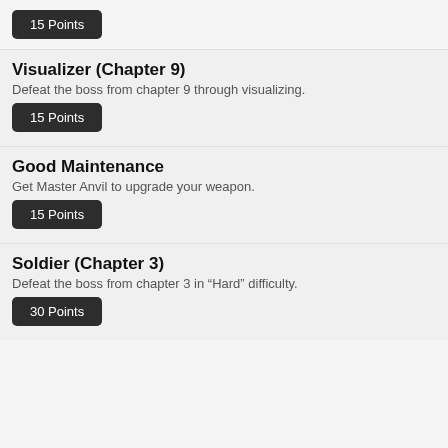15 Points
Visualizer (Chapter 9)
Defeat the boss from chapter 9 through visualizing.
15 Points
Good Maintenance
Get Master Anvil to upgrade your weapon.
15 Points
Soldier (Chapter 3)
Defeat the boss from chapter 3 in “Hard” difficulty.
30 Points